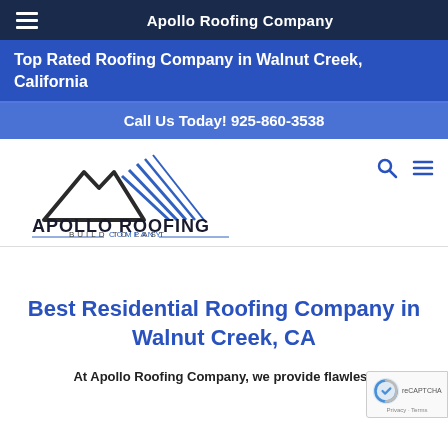Apollo Roofing Company
Top Rated Roofing Company in Walnut Creek, California
Call Us Today! 925-860-3538
[Figure (logo): Apollo Roofing Company logo with mountain/roofline graphic and tagline BUILD TO LAST]
Best Residential Roofing Company in Walnut Creek, CA
At Apollo Roofing Company, we provide flawless